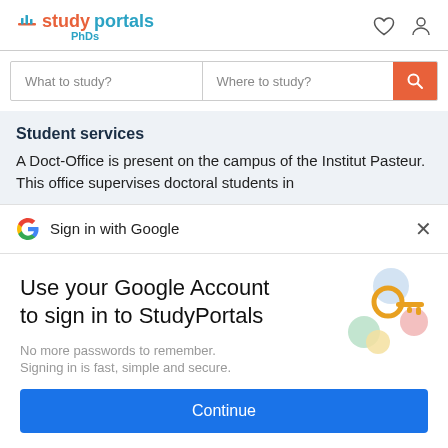studyportals PhDs
What to study?  Where to study?
Student services
A Doct-Office is present on the campus of the Institut Pasteur. This office supervises doctoral students in
Sign in with Google
Use your Google Account to sign in to StudyPortals
No more passwords to remember.
Signing in is fast, simple and secure.
Continue